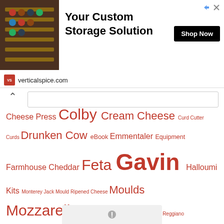[Figure (photo): Advertisement banner for verticalspice.com showing a spice rack storage solution image on the left, bold text 'Your Custom Storage Solution' in center, 'Shop Now' black button on right, and ad attribution icons top right.]
Cheese Press Colby Cream Cheese Curd Cutter Curds Drunken Cow eBook Emmentaler Equipment Farmhouse Cheddar Feta Gavin Halloumi Kits Monterey Jack Mould Ripened Cheese Moulds Mozzarella Parmesan Parmigiano Reggiano Podcast Queso Fresco Raw Milk Rennet Ricotta Romano Romano Pepato Salt Sanitisation Starter Cultures Stilton Storage Technique Tzafatit Video Tutorial Waxing Wensleydale Whey Ricotta Workshops